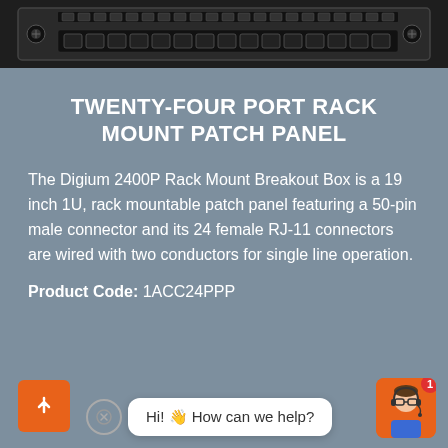[Figure (photo): Rack mount patch panel hardware photo showing a 1U black metal panel with multiple ports and connectors]
TWENTY-FOUR PORT RACK MOUNT PATCH PANEL
The Digium 2400P Rack Mount Breakout Box is a 19 inch 1U, rack mountable patch panel featuring a 50-pin male connector and its 24 female RJ-11 connectors are wired with two conductors for single line operation.
Product Code: 1ACC24PPP